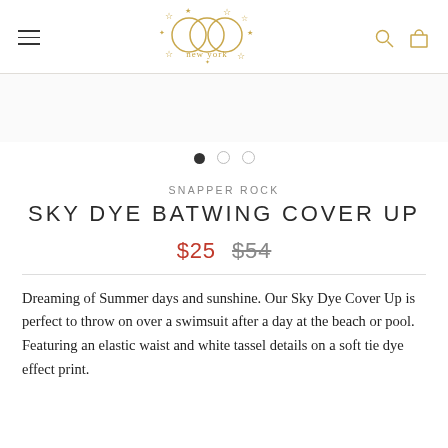EGG New York logo with navigation icons
[Figure (logo): EGG New York logo — three overlapping circles with stars and 'new york' text, in gold/tan color]
[Figure (other): Carousel pagination dots: one filled dark dot, two empty/outline dots]
SNAPPER ROCK
SKY DYE BATWING COVER UP
$25  $54
Dreaming of Summer days and sunshine. Our Sky Dye Cover Up is perfect to throw on over a swimsuit after a day at the beach or pool. Featuring an elastic waist and white tassel details on a soft tie dye effect print.